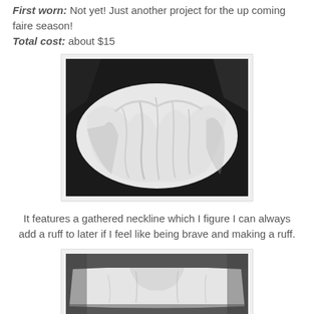First worn: Not yet! Just another project for the up coming faire season!
Total cost: about $15
[Figure (photo): Close-up photograph of white gathered/ruffled fabric against a dark background, showing texture and folds of the neckline area]
It features a gathered neckline which I figure I can always add a ruff to later if I feel like being brave and making a ruff.
[Figure (photo): Photograph of white fabric laid flat, showing the neckline gathered area of the garment against a dark background]